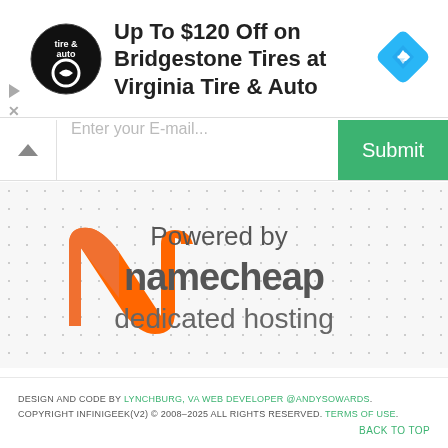[Figure (infographic): Advertisement banner for Virginia Tire & Auto showing logo, text 'Up To $120 Off on Bridgestone Tires at Virginia Tire & Auto', blue diamond navigation icon, and play/close controls on left side]
[Figure (infographic): Email subscription bar with chevron up button, placeholder text 'Enter your E-mail...' and green Submit button]
[Figure (logo): Namecheap logo with orange N symbol and text 'Powered by namecheap dedicated hosting' on dotted grey background]
DESIGN AND CODE BY LYNCHBURG, VA WEB DEVELOPER @ANDYSOWARDS. COPYRIGHT INFINIGEEK(v2) © 2008–2025 ALL RIGHTS RESERVED. TERMS OF USE.
BACK TO TOP